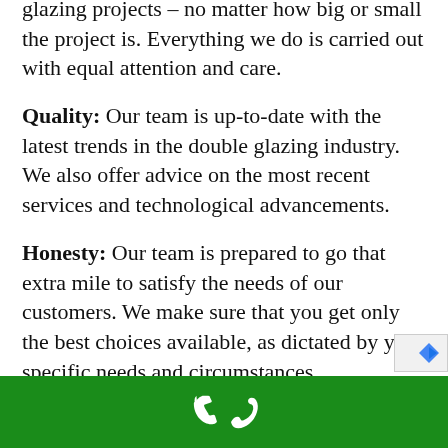glazing projects – no matter how big or small the project is. Everything we do is carried out with equal attention and care.
Quality: Our team is up-to-date with the latest trends in the double glazing industry. We also offer advice on the most recent services and technological advancements.
Honesty: Our team is prepared to go that extra mile to satisfy the needs of our customers. We make sure that you get only the best choices available, as dictated by your specific needs and circumstances.
[phone icon on green bar]